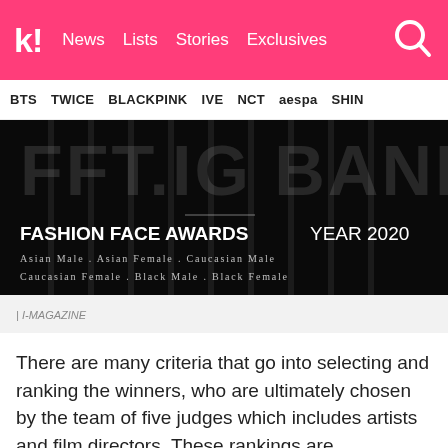k! News  Lists  Stories  Exclusives
BTS  TWICE  BLACKPINK  IVE  NCT  aespa  SHINee
[Figure (photo): Dark background image with large faint text behind. Center shows 'FASHION FACE AWARDS YEAR 2020' with categories: Asian Male, Asian Female, Caucasian Male, Caucasian Female, Black Male, Black Female]
| I-MAGAZINE
There are many criteria that go into selecting and ranking the winners, who are ultimately chosen by the team of five judges which includes artists and film directors. These rankings are determined by using Adobe facial